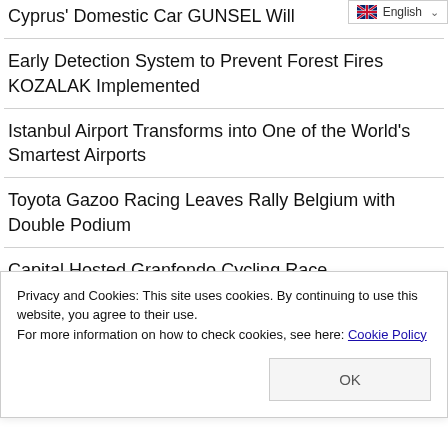Cyprus' Domestic Car GUNSEL Will
Early Detection System to Prevent Forest Fires KOZALAK Implemented
Istanbul Airport Transforms into One of the World's Smartest Airports
Toyota Gazoo Racing Leaves Rally Belgium with Double Podium
Capital Hosted Granfondo Cycling Race
AVIS 2022 Turkey Track Championship Staged Great Competition
Unknown Benefits of Ashura
Privacy and Cookies: This site uses cookies. By continuing to use this website, you agree to their use.
For more information on how to check cookies, see here: Cookie Policy